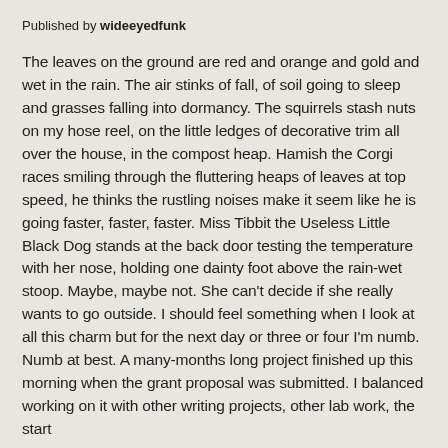Published by wideeyedfunk
The leaves on the ground are red and orange and gold and wet in the rain. The air stinks of fall, of soil going to sleep and grasses falling into dormancy. The squirrels stash nuts on my hose reel, on the little ledges of decorative trim all over the house, in the compost heap. Hamish the Corgi races smiling through the fluttering heaps of leaves at top speed, he thinks the rustling noises make it seem like he is going faster, faster, faster. Miss Tibbit the Useless Little Black Dog stands at the back door testing the temperature with her nose, holding one dainty foot above the rain-wet stoop. Maybe, maybe not. She can't decide if she really wants to go outside. I should feel something when I look at all this charm but for the next day or three or four I'm numb. Numb at best. A many-months long project finished up this morning when the grant proposal was submitted. I balanced working on it with other writing projects, other lab work, the start
...